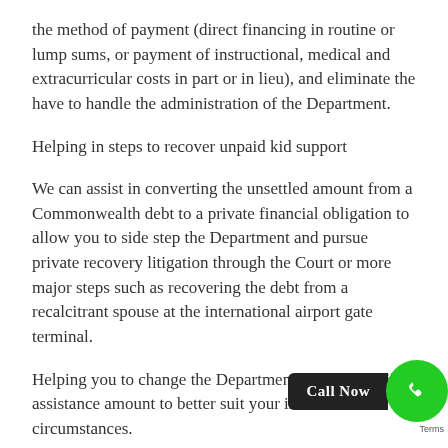the method of payment (direct financing in routine or lump sums, or payment of instructional, medical and extracurricular costs in part or in lieu), and eliminate the have to handle the administration of the Department.
Helping in steps to recover unpaid kid support
We can assist in converting the unsettled amount from a Commonwealth debt to a private financial obligation to allow you to side step the Department and pursue private recovery litigation through the Court or more major steps such as recovering the debt from a recalcitrant spouse at the international airport gate terminal.
Helping you to change the Department evaluated child assistance amount to better suit your individual circumstances.
Evaluations are prepared by the Department based standard formula, but can be modified under various situations (up or down) based on factors such as the